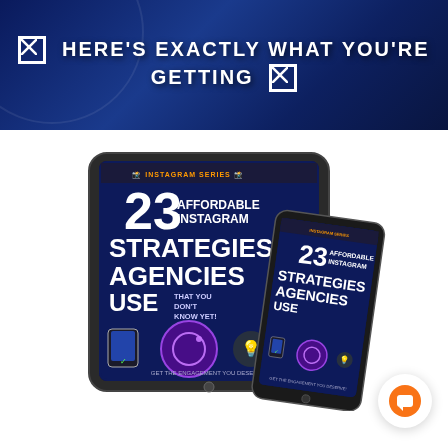☒ HERE'S EXACTLY WHAT YOU'RE GETTING ☒
[Figure (photo): A tablet and a smartphone both displaying the cover of '23 Affordable Instagram Strategies Agencies Use That You Don't Know Yet – Get The Engagement You Deserve!' The book cover features Instagram logo, lightbulb icon, and a hand holding a phone on a dark blue/purple background.]
[Figure (illustration): Orange circular chat/message button icon in the bottom right corner.]